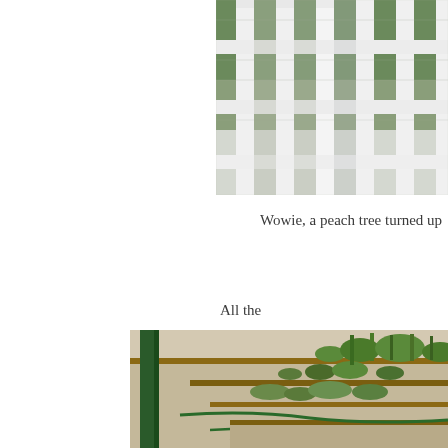[Figure (photo): Photo of a white fence/trellis structure with wire mesh, plants and trees visible behind it, sunlight creating shadows]
Wowie, a peach tree turned up
All the
[Figure (photo): Photo of a garden with raised bed plots, wooden boards as borders, green plants growing, drip irrigation hoses visible, dirt paths between beds]